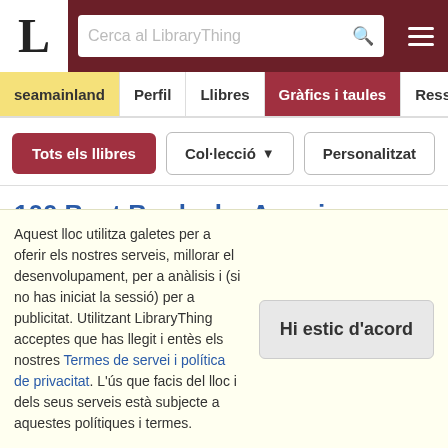L | Cerca al LibraryThing
seamainland
Perfil
Llibres
Gràfics i taules
Ressenyes
100 Best Books by American Women During the Past 100 Years, 1833-1933 (Anglès)
Ethan Frome (Penguin Popular Classics) de Edith Wharton (Fiction)
Uncle Tom's Cabin (Wordsworth Classics) de Harriet Beecher
Aquest lloc utilitza galetes per a oferir els nostres serveis, millorar el desenvolupament, per a anàlisis i (si no has iniciat la sessió) per a publicitat. Utilitzant LibraryThing acceptes que has llegit i entès els nostres Termes de servei i política de privacitat. L'ús que facis del lloc i dels seus serveis està subjecte a aquestes polítiques i termes.